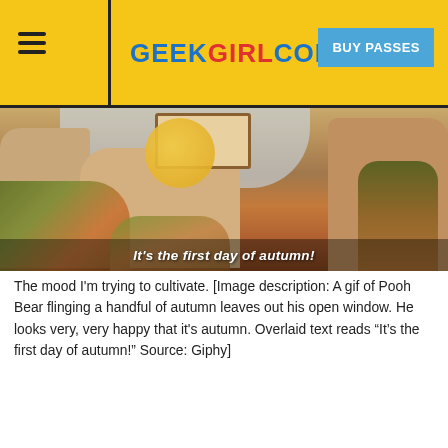GEEKGIRLCON — BUY PASSES
[Figure (illustration): Animated gif still of Pooh Bear at a window surrounded by autumn foliage. Overlaid italic text reads: It's the first day of autumn!]
The mood I'm trying to cultivate. [Image description: A gif of Pooh Bear flinging a handful of autumn leaves out his open window. He looks very, very happy that it's autumn. Overlaid text reads “It’s the first day of autumn!” Source: Giphy]
if you’re looking for a few great events to fill some of that white space in your schedule, be sure to check out the full calendar. In the meantime, here are just a few of the events that are making this between-season time a bit